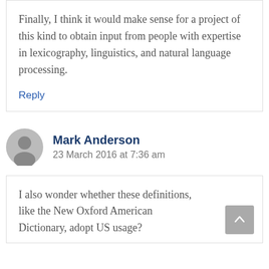Finally, I think it would make sense for a project of this kind to obtain input from people with expertise in lexicography, linguistics, and natural language processing.
Reply
Mark Anderson
23 March 2016 at 7:36 am
I also wonder whether these definitions, like the New Oxford American Dictionary, adopt US usage?